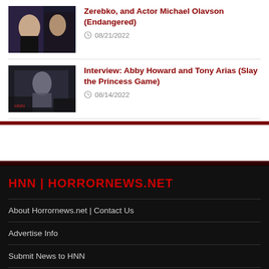Zerebko, and Actor Michael Olavson (Endangered)
08/21/2022
Interview: Abby Howard and Tony Arias (Slay the Princess Game)
08/14/2022
HNN | HORRORNEWS.NET
About Horrornews.net | Contact Us
Advertise Info
Submit News to HNN
Kickstart your Horror Funding Project?
How to Get Your Book or Comic Reviewed on HNN?
Got Interviewed?